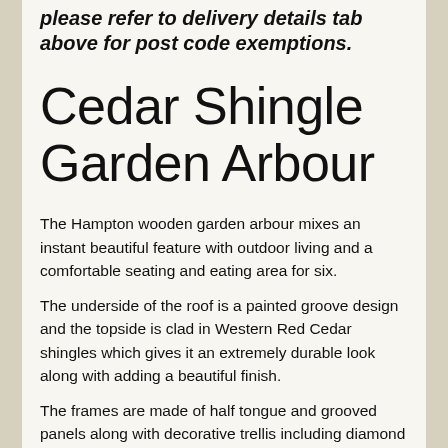please refer to delivery details tab above for post code exemptions.
Cedar Shingle Garden Arbour
The Hampton wooden garden arbour mixes an instant beautiful feature with outdoor living and a comfortable seating and eating area for six.
The underside of the roof is a painted groove design and the topside is clad in Western Red Cedar shingles which gives it an extremely durable look along with adding a beautiful finish.
The frames are made of half tongue and grooved panels along with decorative trellis including diamond windows. A full solid back is available as an extra.